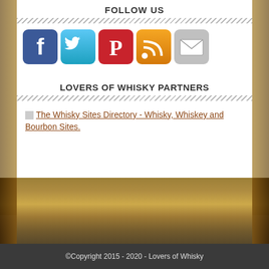FOLLOW US
[Figure (illustration): Five social media icon buttons in a row: Facebook (blue), Twitter (light blue), Pinterest (red), RSS (orange), Email/Mail (gray)]
LOVERS OF WHISKY PARTNERS
The Whisky Sites Directory - Whisky, Whiskey and Bourbon Sites.
©Copyright 2015 - 2020 - Lovers of Whisky